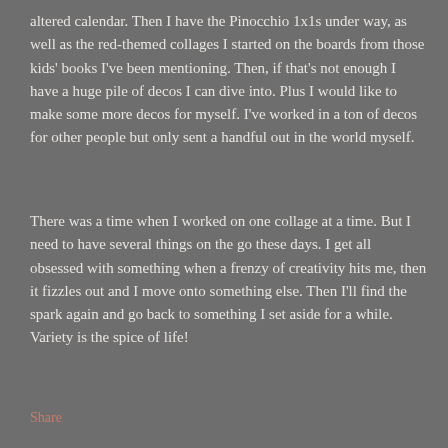altered calendar. Then I have the Pinocchio 1x1s under way, as well as the red-themed collages I started on the boards from those kids' books I've been mentioning. Then, if that's not enough I have a huge pile of decos I can dive into. Plus I would like to make some more decos for myself. I've worked in a ton of decos for other people but only sent a handful out in the world myself.
There was a time when I worked on one collage at a time. But I need to have several things on the go these days. I get all obsessed with something when a frenzy of creativity hits me, then it fizzles out and I move onto something else. Then I'll find the spark again and go back to something I set aside for a while. Variety is the spice of life!
Share